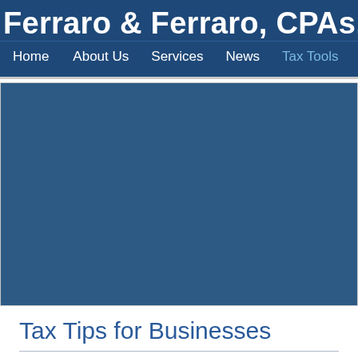Ferraro & Ferraro, CPAs, P
Home   About Us   Services   News   Tax Tools   Conta
[Figure (other): Advertisement banner area with dark blue background]
Tax Tips for Businesses
Search Tax Tips: What are you looking for?